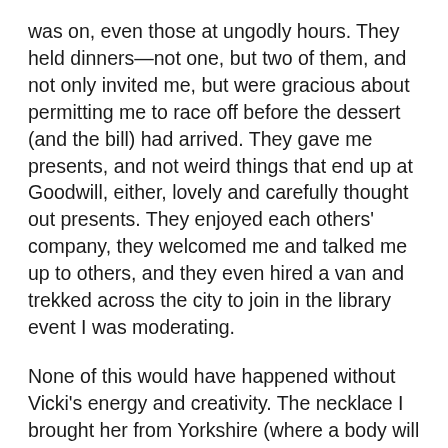was on, even those at ungodly hours. They held dinners—not one, but two of them, and not only invited me, but were gracious about permitting me to race off before the dessert (and the bill) had arrived. They gave me presents, and not weird things that end up at Goodwill, either, lovely and carefully thought out presents. They enjoyed each others' company, they welcomed me and talked me up to others, and they even hired a van and trekked across the city to join in the library event I was moderating.
None of this would have happened without Vicki's energy and creativity. The necklace I brought her from Yorkshire (where a body will be found, in Language of Bees,) a silver spiderweb with a piece of Whitby jet in the middle, symbolizes what she has done here. Last week, she brought together Alice (Strawberry Curls) and KarenB and Merrily (Patches) and (Laidee) Marjorie and Meredith (with guests Kay and Chris) and Roxanne